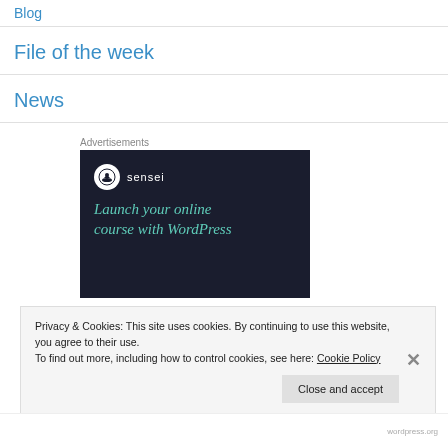Blog
File of the week
News
Advertisements
[Figure (illustration): Sensei advertisement banner with dark background showing sensei logo and text: Launch your online course with WordPress]
Privacy & Cookies: This site uses cookies. By continuing to use this website, you agree to their use.
To find out more, including how to control cookies, see here: Cookie Policy
Close and accept